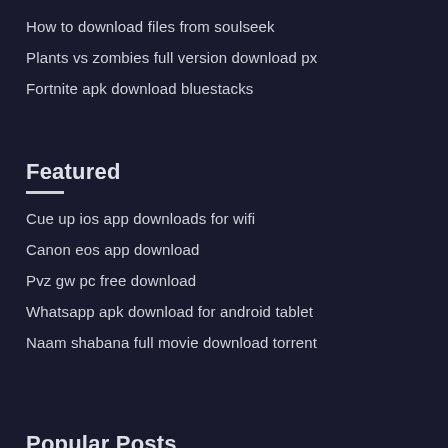How to download files from soulseek
Plants vs zombies full version download px
Fortnite apk download bluestacks
Featured
Cue up ios app downloads for wifi
Canon eos app download
Pvz gw pc free download
Whatsapp apk download for android tablet
Naam shabana full movie download torrent
Popular Posts
Remove nexus mod download cap
Lexmark z517 printer driver download